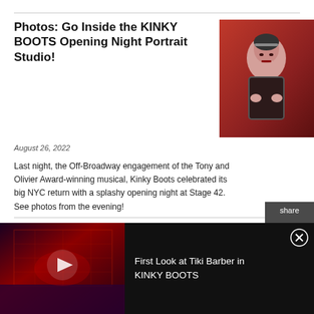Photos: Go Inside the KINKY BOOTS Opening Night Portrait Studio!
August 26, 2022
[Figure (photo): Portrait photo of a woman in theatrical costume with dramatic makeup]
Last night, the Off-Broadway engagement of the Tony and Olivier Award-winning musical, Kinky Boots celebrated its big NYC return with a splashy opening night at Stage 42. See photos from the evening!
Photos: Go Inside Opening Night of KINKY BOOTS Off-Broadway!
August 26, 2022
[Figure (photo): Cast photo from Kinky Boots Off-Broadway opening night, performers with arms raised]
The Off-Broadway engagement of the Tony and Olivier
[Figure (screenshot): Video ad: First Look at Tiki Barber in KINKY BOOTS, showing stage set with red lighting]